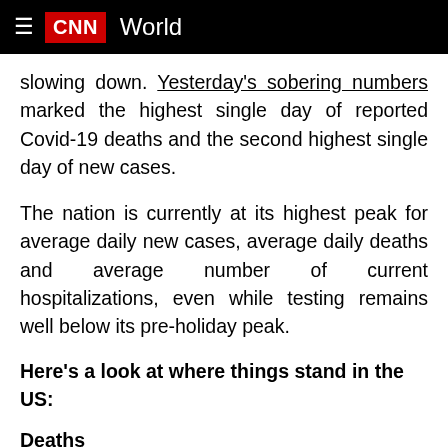CNN World
slowing down. Yesterday's sobering numbers marked the highest single day of reported Covid-19 deaths and the second highest single day of new cases.
The nation is currently at its highest peak for average daily new cases, average daily deaths and average number of current hospitalizations, even while testing remains well below its pre-holiday peak.
Here's a look at where things stand in the US:
Deaths
The US reported more than 4,000 Covid-19 deaths on Thursday, according to Johns Hopkins University